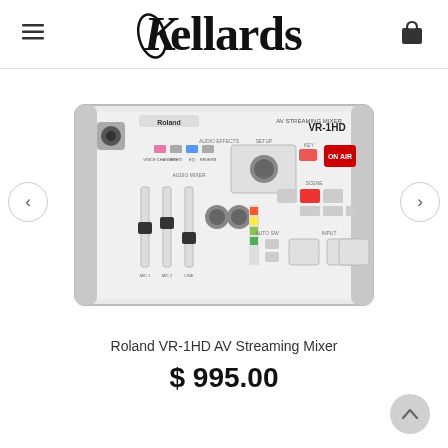Kellards
[Figure (photo): Roland VR-1HD AV Streaming Mixer hardware unit — a white tabletop device with faders, knobs, buttons, audio effects section, scene selection buttons, and ON AIR button. Roland branding and VR-1HD model name visible on top panel.]
Roland VR-1HD AV Streaming Mixer
$ 995.00